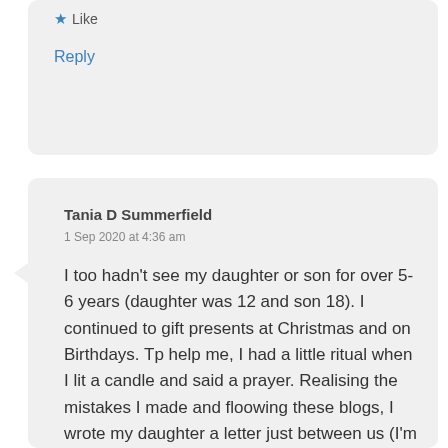★ Like
Reply
Tania D Summerfield
1 Sep 2020 at 4:36 am
I too hadn't see my daughter or son for over 5-6 years (daughter was 12 and son 18). I continued to gift presents at Christmas and on Birthdays. Tp help me, I had a little ritual when I lit a candle and said a prayer. Realising the mistakes I made and floowing these blogs, I wrote my daughter a letter just between us (I'm